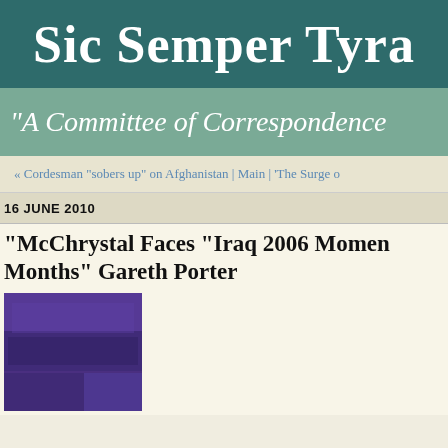Sic Semper Tyra
"A Committee of Correspondence
« Cordesman "sobers up" on Afghanistan | Main | 'The Surge o
16 JUNE 2010
"McChrystal Faces "Iraq 2006 Moment" in Coming Months" Gareth Porter
[Figure (photo): Purple/dark blue abstract or fabric image]